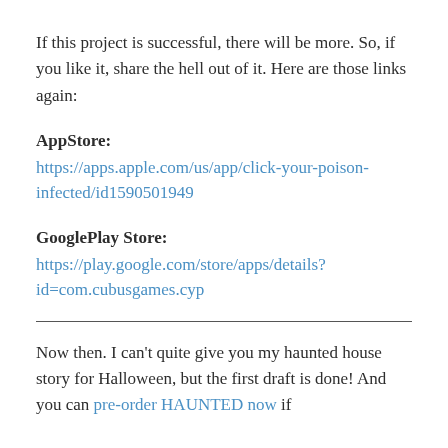If this project is successful, there will be more. So, if you like it, share the hell out of it. Here are those links again:
AppStore:
https://apps.apple.com/us/app/click-your-poison-infected/id1590501949
GooglePlay Store:
https://play.google.com/store/apps/details?id=com.cubusgames.cyp
Now then. I can't quite give you my haunted house story for Halloween, but the first draft is done! And you can pre-order HAUNTED now if